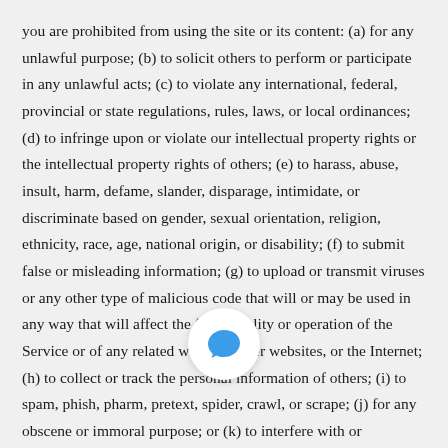you are prohibited from using the site or its content: (a) for any unlawful purpose; (b) to solicit others to perform or participate in any unlawful acts; (c) to violate any international, federal, provincial or state regulations, rules, laws, or local ordinances; (d) to infringe upon or violate our intellectual property rights or the intellectual property rights of others; (e) to harass, abuse, insult, harm, defame, slander, disparage, intimidate, or discriminate based on gender, sexual orientation, religion, ethnicity, race, age, national origin, or disability; (f) to submit false or misleading information; (g) to upload or transmit viruses or any other type of malicious code that will or may be used in any way that will affect the functionality or operation of the Service or of any related website, other websites, or the Internet; (h) to collect or track the personal information of others; (i) to spam, phish, pharm, pretext, spider, crawl, or scrape; (j) for any obscene or immoral purpose; or (k) to interfere with or circumvent the security features of the Service or any related website, other websites, or the Internet. We reserve the right to terminate your use of the Service or any related
[Figure (other): Chat bubble icon — circular white button with a blue speech bubble icon, positioned over the text]